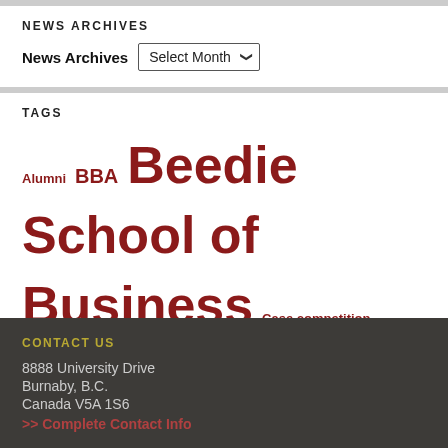NEWS ARCHIVES
News Archives  Select Month
TAGS
Alumni BBA Beedie School of Business Case competition entrepreneurship experiential learning innovation Leadership MBA Research sfu Simon Fraser University sustainability technology undergraduate
CONTACT US
8888 University Drive
Burnaby, B.C.
Canada V5A 1S6
>> Complete Contact Info